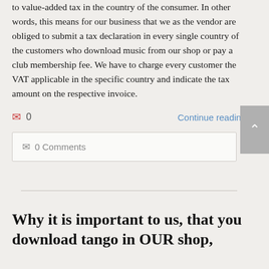to value-added tax in the country of the consumer. In other words, this means for our business that we as the vendor are obliged to submit a tax declaration in every single country of the customers who download music from our shop or pay a club membership fee. We have to charge every customer the VAT applicable in the specific country and indicate the tax amount on the respective invoice.
0   Continue reading
0 Comments
Why it is important to us, that you download tango in OUR shop,